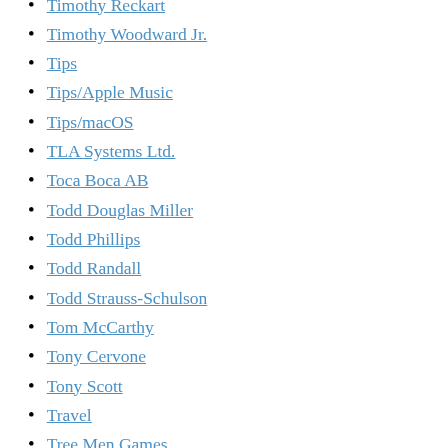Timothy Reckart
Timothy Woodward Jr.
Tips
Tips/Apple Music
Tips/macOS
TLA Systems Ltd.
Toca Boca AB
Todd Douglas Miller
Todd Phillips
Todd Randall
Todd Strauss-Schulson
Tom McCarthy
Tony Cervone
Tony Scott
Travel
Tree Men Games
Trent O'Donnell
Trey Edward Shults